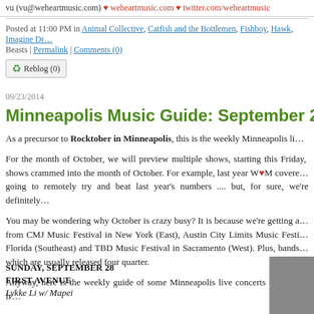vu (vu@weheartmusic.com) ♥ weheartmusic.com ♥ twitter.com/weheartmusic
Posted at 11:00 PM in Animal Collective, Catfish and the Bottlemen, Fishboy, Hawk, Imagine D… Beasts | Permalink | Comments (0)
Reblog (0)
09/23/2014
Minneapolis Music Guide: September 28 - Sep…
As a precursor to Rocktober in Minneapolis, this is the weekly Minneapolis li… ONLY.
For the month of October, we will preview multiple shows, starting this Friday,… shows crammed into the month of October. For example, last year W♥M covere… going to remotely try and beat last year's numbers .... but, for sure, we're definitely…
You may be wondering why October is crazy busy? It is because we're getting a… from CMJ Music Festival in New York (East), Austin City Limits Music Festi… Florida (Southeast) and TBD Music Festival in Sacramento (West). Plus, bands… which are usually released four quarter.
Anyway, here is the weekly guide of some Minneapolis live concerts and events fr…
SUNDAY, SEPTEMBER 28
FIRST AVENUE
Lykke Li w/ Mapei
[Figure (photo): Gray image/photo thumbnail in bottom right corner]